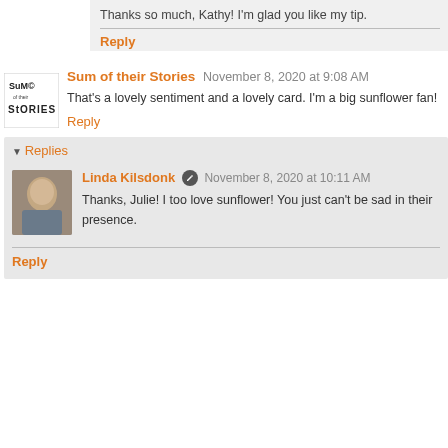Thanks so much, Kathy! I'm glad you like my tip.
Reply
Sum of their Stories  November 8, 2020 at 9:08 AM
That's a lovely sentiment and a lovely card. I'm a big sunflower fan!
Reply
Replies
Linda Kilsdonk  November 8, 2020 at 10:11 AM
Thanks, Julie! I too love sunflower! You just can't be sad in their presence.
Reply